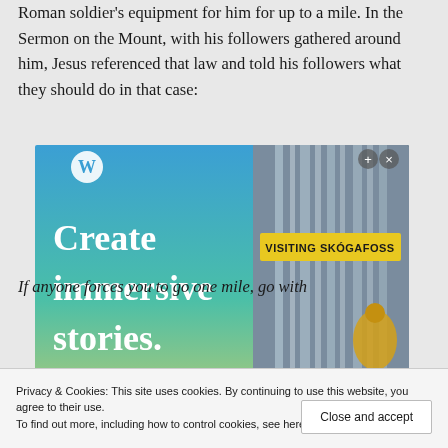Roman soldier's equipment for him for up to a mile. In the Sermon on the Mount, with his followers gathered around him, Jesus referenced that law and told his followers what they should do in that case:
[Figure (screenshot): Advertisement showing WordPress.com promotional image with text 'Create immersive stories.' on blue/green gradient background, alongside a phone screen showing 'VISITING SKÓGAFOSS' with a person in yellow jacket near a waterfall.]
Privacy & Cookies: This site uses cookies. By continuing to use this website, you agree to their use.
To find out more, including how to control cookies, see here: Cookie Policy
If anyone forces you to go one mile, go with